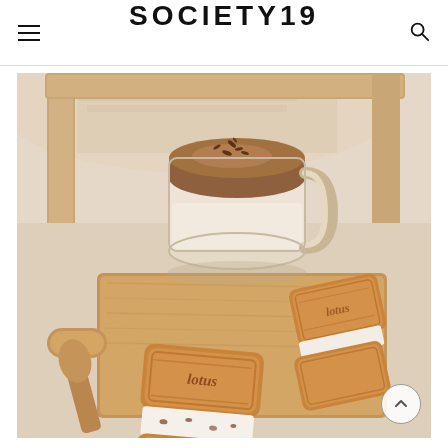SOCIETY19
[Figure (photo): A styled flat-lay photo showing a glass cup of dalgona/latte coffee with chocolate sprinkles on top, sitting on a wooden tray alongside two Lotus Biscoff cookie ice cream sandwiches on a cutting board, with a linen cloth in the background. Warm, beige, aesthetic tones.]